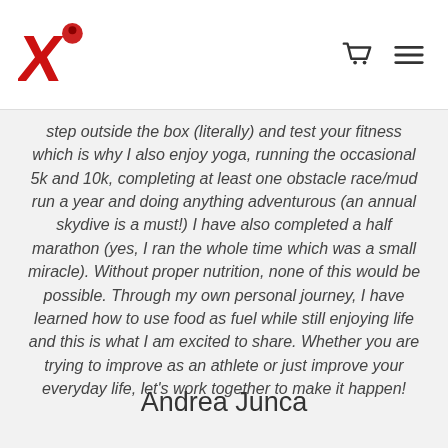[Logo: X fitness icon] [Cart icon] [Menu icon]
step outside the box (literally) and test your fitness which is why I also enjoy yoga, running the occasional 5k and 10k, completing at least one obstacle race/mud run a year and doing anything adventurous (an annual skydive is a must!) I have also completed a half marathon (yes, I ran the whole time which was a small miracle). Without proper nutrition, none of this would be possible. Through my own personal journey, I have learned how to use food as fuel while still enjoying life and this is what I am excited to share. Whether you are trying to improve as an athlete or just improve your everyday life, let's work together to make it happen!
Andrea Junca